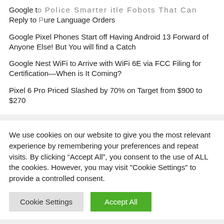Google to Police Smarter title Robots That Can Reply to Pure Language Orders
Google Pixel Phones Start off Having Android 13 Forward of Anyone Else! But You will find a Catch
Google Nest WiFi to Arrive with WiFi 6E via FCC Filing for Certification—When is It Coming?
Pixel 6 Pro Priced Slashed by 70% on Target from $900 to $270
We use cookies on our website to give you the most relevant experience by remembering your preferences and repeat visits. By clicking “Accept All”, you consent to the use of ALL the cookies. However, you may visit "Cookie Settings" to provide a controlled consent.
Cookie Settings | Accept All